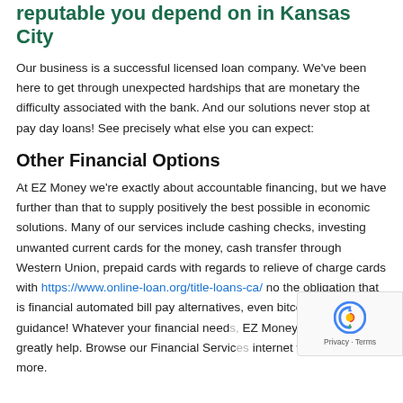reputable you depend on in Kansas City
Our business is a successful licensed loan company. We've been here to get through unexpected hardships that are monetary the difficulty associated with the bank. And our solutions never stop at pay day loans! See precisely what else you can expect:
Other Financial Options
At EZ Money we're exactly about accountable financing, but we have further than that to supply positively the best possible in economic solutions. Many of our services include cashing checks, investing unwanted current cards for the money, cash transfer through Western Union, prepaid cards with regards to relieve of charge cards with https://www.online-loan.org/title-loans-ca/ no the obligation that is financial automated bill pay alternatives, even bitcoin transaction guidance! Whatever your financial need, EZ Money is here to greatly help. Browse our Financial Services internet web site to learn more.